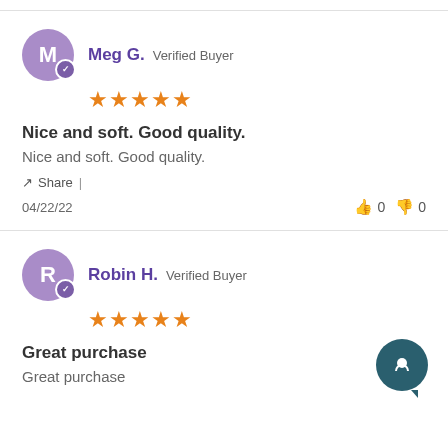Meg G. — Verified Buyer — ★★★★★ — Nice and soft. Good quality. — Nice and soft. Good quality. — Share | — 04/22/22 — 👍 0 👎 0
Nice and soft. Good quality.
Nice and soft. Good quality.
Share | 04/22/22
Robin H. — Verified Buyer — ★★★★★ — Great purchase — Great purchase